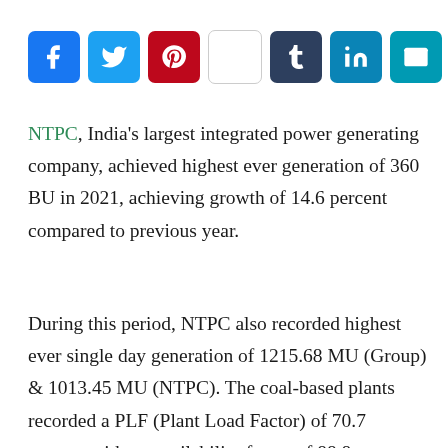[Figure (other): Social sharing buttons row: Facebook, Twitter, Pinterest, WordPress, Tumblr, LinkedIn, Email, WhatsApp, More]
NTPC, India's largest integrated power generating company, achieved highest ever generation of 360 BU in 2021, achieving growth of 14.6 percent compared to previous year.
During this period, NTPC also recorded highest ever single day generation of 1215.68 MU (Group) & 1013.45 MU (NTPC). The coal-based plants recorded a PLF (Plant Load Factor) of 70.7 percent with an availability factor of 88.8 percent. On a standalone basis, NTPC generated 299 BU in FY 21-22, an increase of 10.4 percent over the previous year.